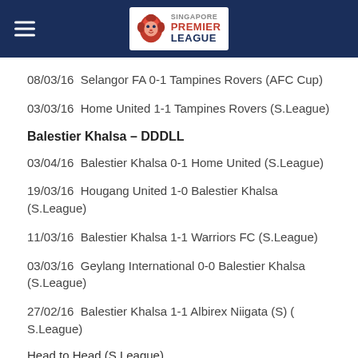Singapore Premier League
08/03/16  Selangor FA 0-1 Tampines Rovers (AFC Cup)
03/03/16  Home United 1-1 Tampines Rovers (S.League)
Balestier Khalsa – DDDLL
03/04/16  Balestier Khalsa 0-1 Home United (S.League)
19/03/16  Hougang United 1-0 Balestier Khalsa (S.League)
11/03/16  Balestier Khalsa 1-1 Warriors FC (S.League)
03/03/16  Geylang International 0-0 Balestier Khalsa (S.League)
27/02/16  Balestier Khalsa 1-1 Albirex Niigata (S) ( S.League)
Head to Head (S.League)
05/11/15  Balestier Khalsa 1-2 Tampines Ro...